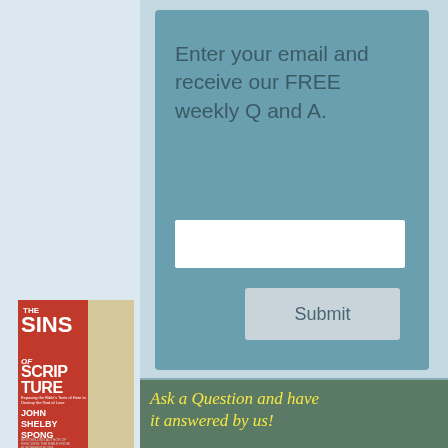Enter your email and receive our FREE weekly Q and A.
[Figure (screenshot): Email input text field (white rectangle)]
[Figure (screenshot): Submit button (grey rounded rectangle with text 'Submit')]
[Figure (photo): Book cover for 'The Sins of Scripture' by John Shelby Spong, red and cream cover]
Ask a Question and have it answered by us!